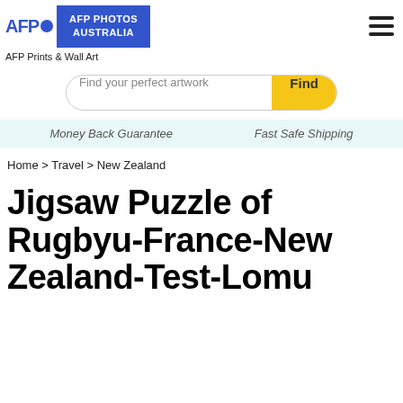AFP Photos Australia
AFP Prints & Wall Art
Find your perfect artwork | Find
Money Back Guarantee    Fast Safe Shipping
Home > Travel > New Zealand
Jigsaw Puzzle of Rugbyu-France-New Zealand-Test-Lomu